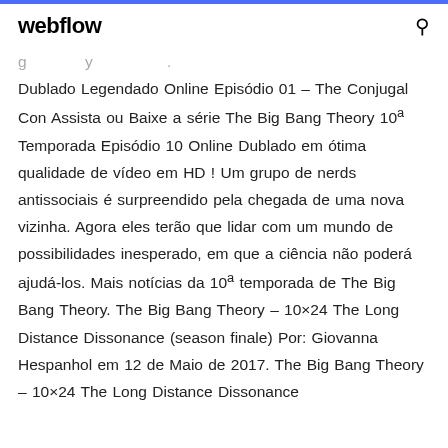webflow
Dublado Legendado Online Episódio 01 – The Conjugal Con Assista ou Baixe a série The Big Bang Theory 10ª Temporada Episódio 10 Online Dublado em ótima qualidade de vídeo em HD ! Um grupo de nerds antissociais é surpreendido pela chegada de uma nova vizinha. Agora eles terão que lidar com um mundo de possibilidades inesperado, em que a ciência não poderá ajudá-los. Mais notícias da 10ª temporada de The Big Bang Theory. The Big Bang Theory – 10×24 The Long Distance Dissonance (season finale) Por: Giovanna Hespanhol em 12 de Maio de 2017. The Big Bang Theory – 10×24 The Long Distance Dissonance